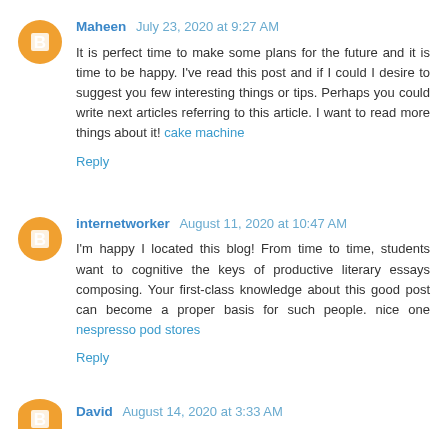Maheen July 23, 2020 at 9:27 AM
It is perfect time to make some plans for the future and it is time to be happy. I've read this post and if I could I desire to suggest you few interesting things or tips. Perhaps you could write next articles referring to this article. I want to read more things about it! cake machine
Reply
internetworker August 11, 2020 at 10:47 AM
I'm happy I located this blog! From time to time, students want to cognitive the keys of productive literary essays composing. Your first-class knowledge about this good post can become a proper basis for such people. nice one nespresso pod stores
Reply
David August 14, 2020 at 3:33 AM